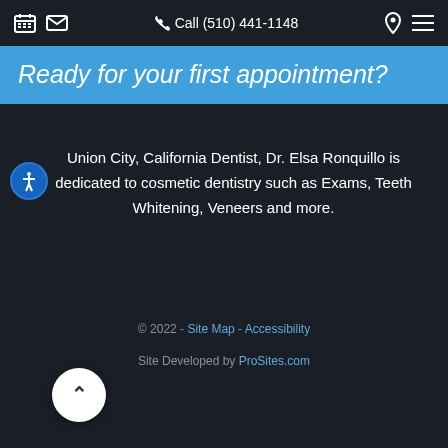Call (510) 441-1148
Ready for your first appointment?
Union City, California Dentist, Dr. Elsa Ronquillo is dedicated to cosmetic dentistry such as Exams, Teeth Whitening, Veneers and more.
© 2022 - Site Map - Accessibility
Site Developed by ProSites.com